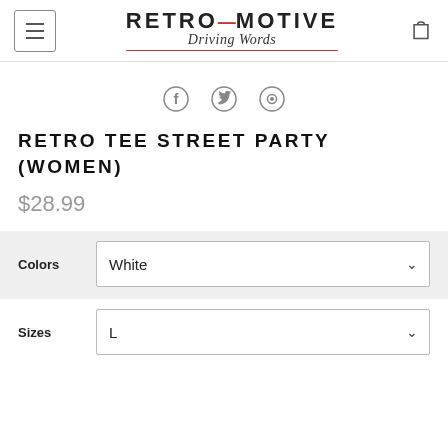RETROMOTIVE Driving Words
[Figure (infographic): Social sharing icons: Facebook, Twitter, Pinterest]
RETRO TEE STREET PARTY (WOMEN)
$28.99
| Label | Value |
| --- | --- |
| Colors | White |
| Sizes | L |